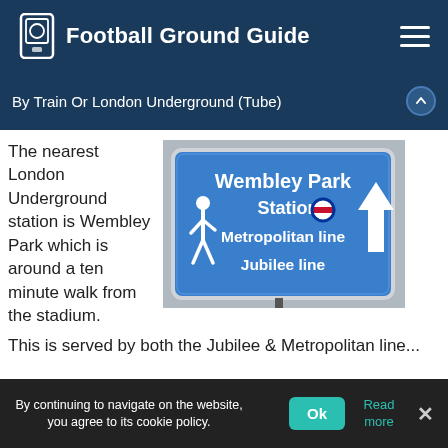Football Ground Guide
By Train Or London Underground (Tube)
[Figure (photo): A blue London Underground directional sign pointing to Wembley Park Station, Metropolitan line and Jubilee line]
The nearest London Underground station is Wembley Park which is around a ten minute walk from the stadium. This is served by both the Jubilee & Metropolitan line...
By continuing to navigate on the website, you agree to its cookie policy.